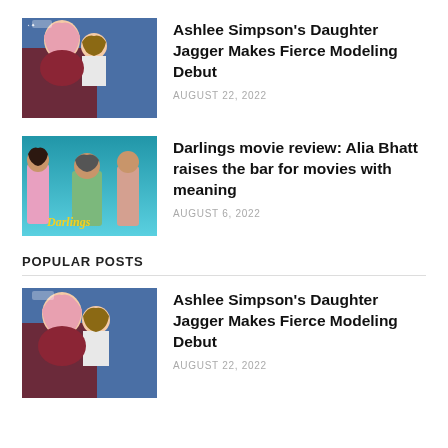[Figure (photo): Photo of Ashlee Simpson holding a child, both facing partially away, at an event with blue backdrop]
Ashlee Simpson's Daughter Jagger Makes Fierce Modeling Debut
AUGUST 22, 2022
[Figure (photo): Darlings movie poster featuring Alia Bhatt and other actresses on a teal/blue background with the movie title 'Darlings' in yellow stylized text]
Darlings movie review: Alia Bhatt raises the bar for movies with meaning
AUGUST 6, 2022
POPULAR POSTS
[Figure (photo): Photo of Ashlee Simpson holding a child, both facing partially away, at an event with blue backdrop (repeated)]
Ashlee Simpson's Daughter Jagger Makes Fierce Modeling Debut
AUGUST 22, 2022